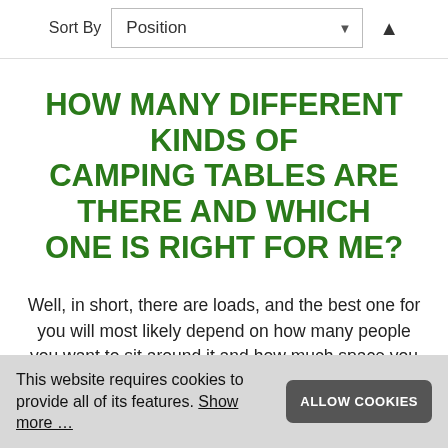Sort By  Position
HOW MANY DIFFERENT KINDS OF CAMPING TABLES ARE THERE AND WHICH ONE IS RIGHT FOR ME?
Well, in short, there are loads, and the best one for you will most likely depend on how many people you want to sit around it and how much space you have to store and transport it.
This website requires cookies to provide all of its features. Show more …